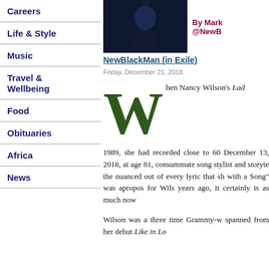Careers
Life & Style
Music
Travel & Wellbeing
Food
Obituaries
Africa
News
[Figure (photo): Dark blue background photo, likely of Nancy Wilson or related performer]
By Mark @NewB
NewBlackMan (in Exile)
Friday, December 21, 2018.
When Nancy Wilson's Lady...
1989, she had recorded close to 60 December 13, 2018, at age 81, consummate song stylist and storyte the nuanced out of every lyric that sh with a Song" was apropos for Wils years ago, it certainly is as much now
Wilson was a three time Grammy-w spanned from her debut Like in Lo